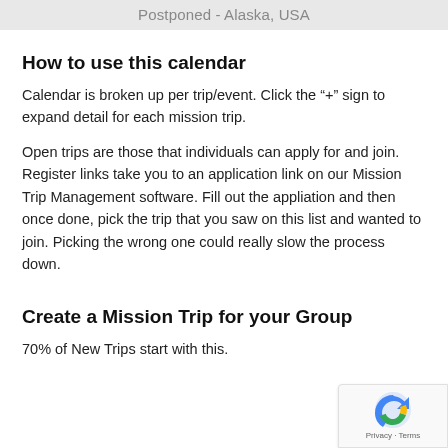Postponed - Alaska, USA
How to use this calendar
Calendar is broken up per trip/event. Click the “+” sign to expand detail for each mission trip.
Open trips are those that individuals can apply for and join. Register links take you to an application link on our Mission Trip Management software. Fill out the appliation and then once done, pick the trip that you saw on this list and wanted to join. Picking the wrong one could really slow the process down.
Create a Mission Trip for your Group
70% of New Trips start with this.